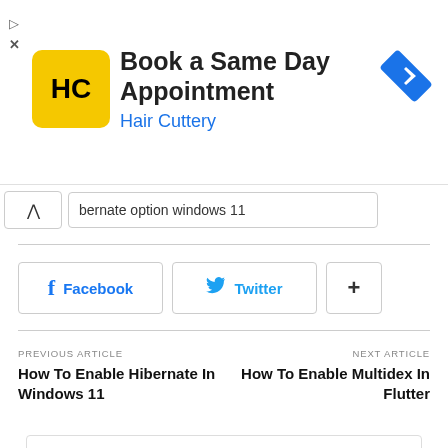[Figure (other): Hair Cuttery advertisement banner with HC logo, text 'Book a Same Day Appointment', 'Hair Cuttery', and a blue navigation arrow icon]
hibernate option windows 11
[Figure (other): Social share buttons: Facebook, Twitter, and a plus/more button]
PREVIOUS ARTICLE
How To Enable Hibernate In Windows 11
NEXT ARTICLE
How To Enable Multidex In Flutter
[Figure (photo): Author profile photo showing a man outdoors]